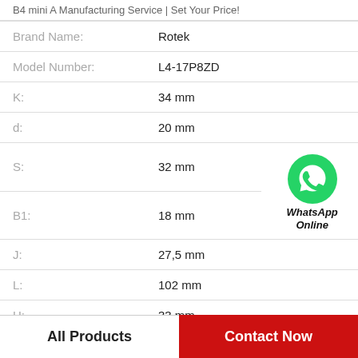B4 mini A Manufacturing Service | Set Your Price!
| Property | Value |
| --- | --- |
| Brand Name: | Rotek |
| Model Number: | L4-17P8ZD |
| K: | 34 mm |
| d: | 20 mm |
| S: | 32 mm |
| B1: | 18 mm |
| J: | 27,5 mm |
| L: | 102 mm |
| H: | 33 mm |
[Figure (logo): WhatsApp Online green phone icon with text 'WhatsApp Online']
All Products
Contact Now